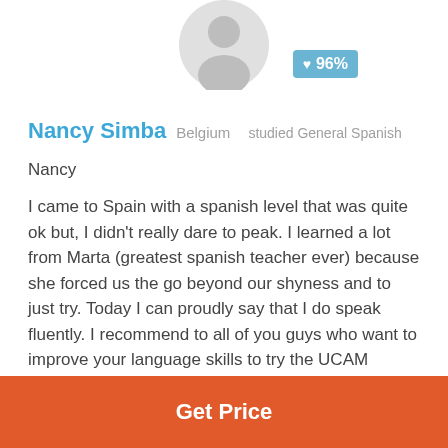[Figure (illustration): Greyed-out generic user avatar silhouette at top center]
❤ 96%
Nancy Simba  Belgium  studied General Spanish
Nancy
I came to Spain with a spanish level that was quite ok but, I didn't really dare to peak. I learned a lot from Marta (greatest spanish teacher ever) because she forced us the go beyond our shyness and to just try. Today I can proudly say that I do speak fluently. I recommend to all of you guys who want to improve your language skills to try the UCAM language courses! I personally, had a blast!
posted 7 years ago
Get Price